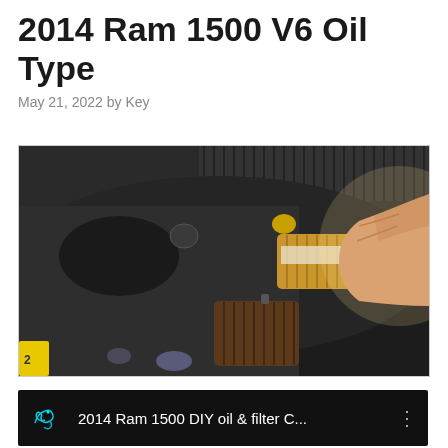2014 Ram 1500 V6 Oil Type
May 21, 2022 by Key
[Figure (photo): A hand holding a cylindrical oil filter cartridge above an engine bay, with another darker used filter visible below. Engine components visible in the background.]
[Figure (screenshot): Video thumbnail showing dark background with a dragon/serpent logo icon on the left and text '2014 Ram 1500 DIY oil & filter C...' with a three-dot menu icon on the right.]